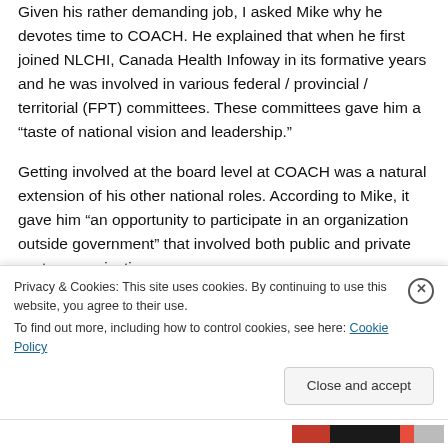Given his rather demanding job, I asked Mike why he devotes time to COACH. He explained that when he first joined NLCHI, Canada Health Infoway in its formative years and he was involved in various federal / provincial / territorial (FPT) committees. These committees gave him a “taste of national vision and leadership.”
Getting involved at the board level at COACH was a natural extension of his other national roles. According to Mike, it gave him “an opportunity to participate in an organization outside government” that involved both public and private sector organizations.
Privacy & Cookies: This site uses cookies. By continuing to use this website, you agree to their use.
To find out more, including how to control cookies, see here: Cookie Policy